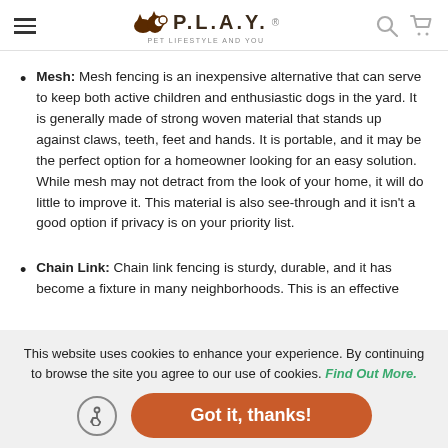P.L.A.Y. Pet Lifestyle and You
Mesh: Mesh fencing is an inexpensive alternative that can serve to keep both active children and enthusiastic dogs in the yard. It is generally made of strong woven material that stands up against claws, teeth, feet and hands. It is portable, and it may be the perfect option for a homeowner looking for an easy solution. While mesh may not detract from the look of your home, it will do little to improve it. This material is also see-through and it isn't a good option if privacy is on your priority list.
Chain Link: Chain link fencing is sturdy, durable, and it has become a fixture in many neighborhoods. This is an effective
This website uses cookies to enhance your experience. By continuing to browse the site you agree to our use of cookies. Find Out More.
Got it, thanks!